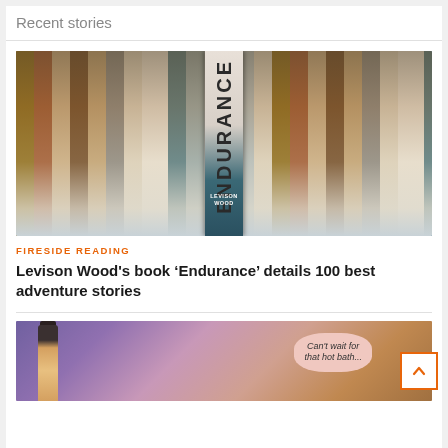Recent stories
[Figure (photo): Bookshelf photo showing the book 'Endurance' by Levison Wood prominently displayed among other books]
FIRESIDE READING
Levison Wood's book ‘Endurance’ details 100 best adventure stories
[Figure (photo): Partial view of a second article image showing a bottle against a purple/pink sunset background with a speech bubble reading 'Can't wait for that hot bath...']